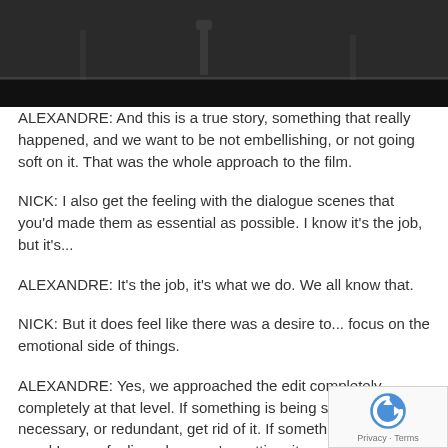[Figure (screenshot): Dark cinematic screenshot showing a figure with industrial/warehouse background]
ALEXANDRE: And this is a true story, something that really happened, and we want to be not embellishing, or not going soft on it. That was the whole approach to the film.
NICK: I also get the feeling with the dialogue scenes that you'd made them as essential as possible. I know it's the job, but it's...
ALEXANDRE: It's the job, it's what we do. We all know that.
NICK: But it does feel like there was a desire to... focus on the emotional side of things.
ALEXANDRE: Yes, we approached the edit completely, completely at that level. If something is being said that's not necessary, or redundant, get rid of it. If something doesn't feel - and I mean feeling when you're cutting, it...